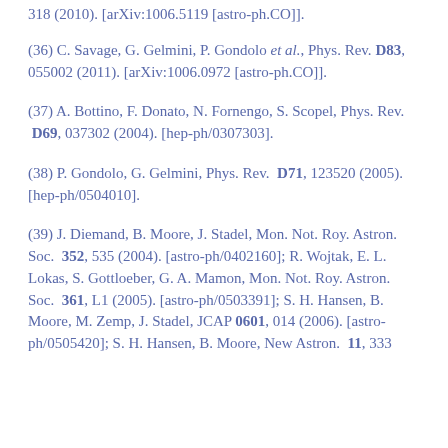318 (2010). [arXiv:1006.5119 [astro-ph.CO]].
(36) C. Savage, G. Gelmini, P. Gondolo et al., Phys. Rev. D83, 055002 (2011). [arXiv:1006.0972 [astro-ph.CO]].
(37) A. Bottino, F. Donato, N. Fornengo, S. Scopel, Phys. Rev. D69, 037302 (2004). [hep-ph/0307303].
(38) P. Gondolo, G. Gelmini, Phys. Rev. D71, 123520 (2005). [hep-ph/0504010].
(39) J. Diemand, B. Moore, J. Stadel, Mon. Not. Roy. Astron. Soc. 352, 535 (2004). [astro-ph/0402160]; R. Wojtak, E. L. Lokas, S. Gottloeber, G. A. Mamon, Mon. Not. Roy. Astron. Soc. 361, L1 (2005). [astro-ph/0503391]; S. H. Hansen, B. Moore, M. Zemp, J. Stadel, JCAP 0601, 014 (2006). [astro-ph/0505420]; S. H. Hansen, B. Moore, New Astron. 11, 333